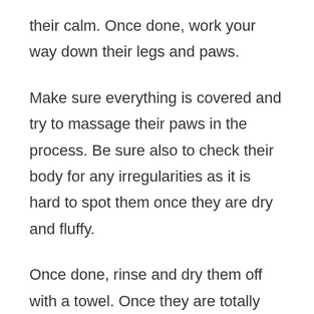their calm. Once done, work your way down their legs and paws.
Make sure everything is covered and try to massage their paws in the process. Be sure also to check their body for any irregularities as it is hard to spot them once they are dry and fluffy.
Once done, rinse and dry them off with a towel. Once they are totally dry, it is now time to wash their head.